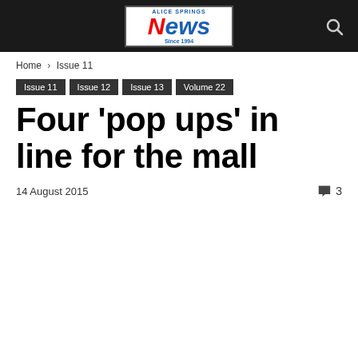Alice Springs News Since 1994
Home › Issue 11
Issue 11
Issue 12
Issue 13
Volume 22
Four 'pop ups' in line for the mall
14 August 2015  3